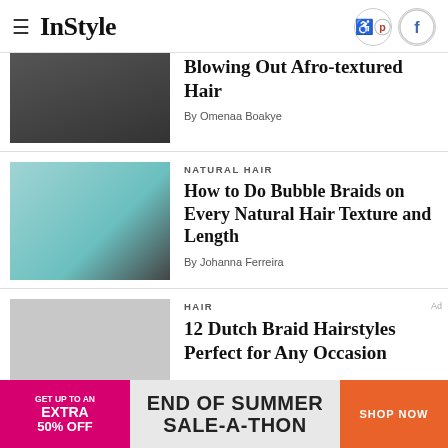InStyle
Blowing Out Afro-textured Hair
By Omenaa Boakye
NATURAL HAIR
How to Do Bubble Braids on Every Natural Hair Texture and Length
By Johanna Ferreira
HAIR
12 Dutch Braid Hairstyles Perfect for Any Occasion
[Figure (infographic): End of Summer Sale-A-Thon advertisement banner with pink left panel showing GET UP TO AN EXTRA 50% OFF, center gray panel with END OF SUMMER SALE-A-THON text, and orange SHOP NOW button on right]